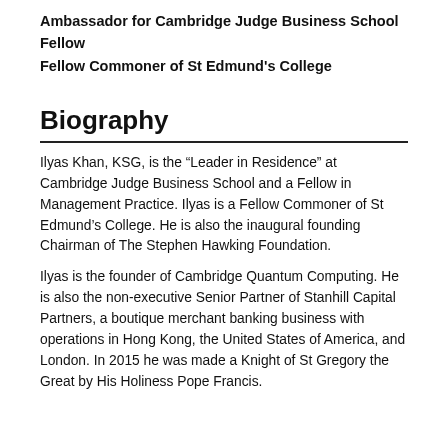Ambassador for Cambridge Judge Business School
Fellow
Fellow Commoner of St Edmund's College
Biography
Ilyas Khan, KSG, is the “Leader in Residence” at Cambridge Judge Business School and a Fellow in Management Practice. Ilyas is a Fellow Commoner of St Edmund’s College. He is also the inaugural founding Chairman of The Stephen Hawking Foundation.
Ilyas is the founder of Cambridge Quantum Computing. He is also the non-executive Senior Partner of Stanhill Capital Partners, a boutique merchant banking business with operations in Hong Kong, the United States of America, and London. In 2015 he was made a Knight of St Gregory the Great by His Holiness Pope Francis.